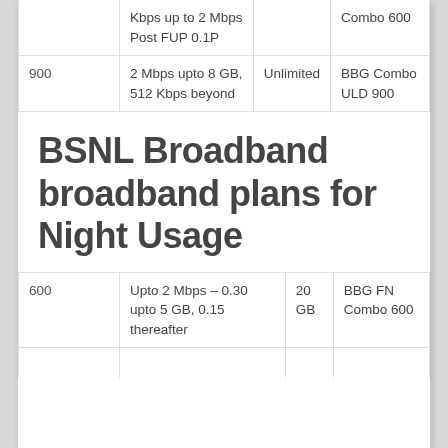| Price | Speed | Usage | Plan Name |
| --- | --- | --- | --- |
|  | Kbps up to 2 Mbps Post FUP 0.1P |  | Combo 600 |
| 900 | 2 Mbps upto 8 GB, 512 Kbps beyond | Unlimited | BBG Combo ULD 900 |
BSNL Broadband broadband plans for Night Usage
| Price | Speed | Usage | Plan Name |
| --- | --- | --- | --- |
| 600 | Upto 2 Mbps – 0.30 upto 5 GB, 0.15 thereafter | 20 GB | BBG FN Combo 600 |